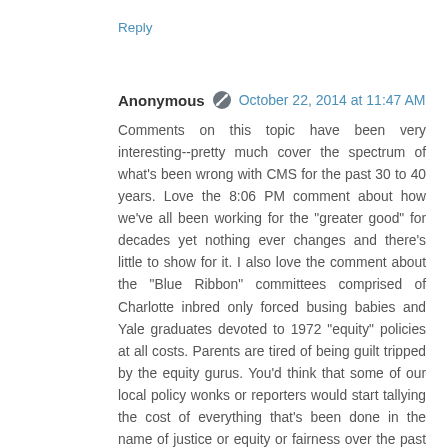Reply
Anonymous  October 22, 2014 at 11:47 AM
Comments on this topic have been very interesting--pretty much cover the spectrum of what's been wrong with CMS for the past 30 to 40 years. Love the 8:06 PM comment about how we've all been working for the "greater good" for decades yet nothing ever changes and there's little to show for it. I also love the comment about the "Blue Ribbon" committees comprised of Charlotte inbred only forced busing babies and Yale graduates devoted to 1972 "equity" policies at all costs. Parents are tired of being guilt tripped by the equity gurus. You'd think that some of our local policy wonks or reporters would start tallying the cost of everything that's been done in the name of justice or equity or fairness over the past 30 years and then tell us how much bang we got for our bucks.
Reply